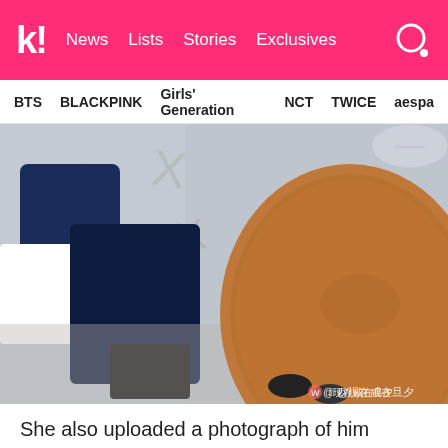k! News Lists Stories Exclusives
BTS BLACKPINK Girls' Generation NCT TWICE aespa
[Figure (photo): Photo of a person sleeping on the floor beneath a round wooden table, with a wine glass visible on the table. A Weibo watermark reading '@现在咸在旦夕' appears in the bottom right corner.]
She also uploaded a photograph of him sleeping.